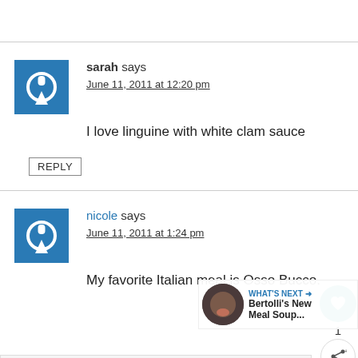sarah says
June 11, 2011 at 12:20 pm
I love linguine with white clam sauce
REPLY
[Figure (other): Like/share widget with heart icon (teal circle), count of 1, and share icon]
nicole says
June 11, 2011 at 1:24 pm
My favorite Italian meal is Osso Bucco.
[Figure (other): What's Next panel with thumbnail image and text: Bertolli's New Meal Soup...]
[Figure (other): Advertisement bar: In-store shopping]